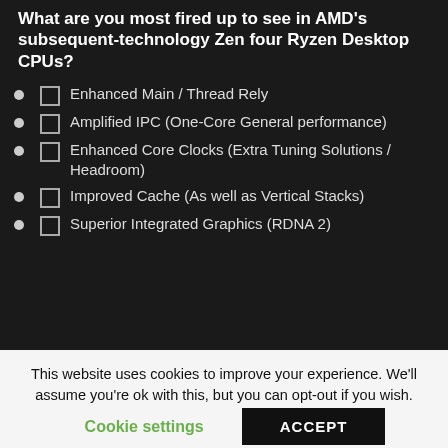What are you most fired up to see in AMD's subsequent-technology Zen four Ryzen Desktop CPUs?
Enhanced Main / Thread Rely
Amplified IPC (One-Core General performance)
Enhanced Core Clocks (Extra Tuning Solutions / Headroom)
Improved Cache (As well as Vertical Stacks)
Superior Integrated Graphics (RDNA 2)
This website uses cookies to improve your experience. We'll assume you're ok with this, but you can opt-out if you wish.
Cookie settings | ACCEPT